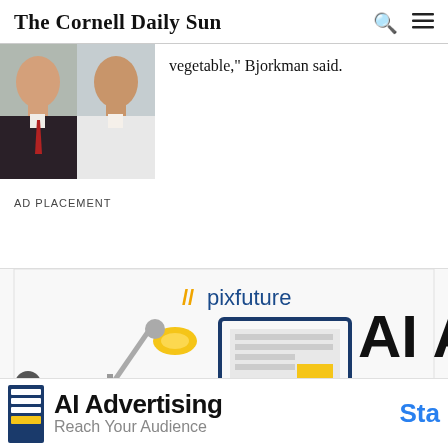The Cornell Daily Sun
[Figure (photo): Two men in formal attire, cropped at neck/shoulders, side by side]
vegetable," Bjorkman said.
AD PLACEMENT
[Figure (infographic): Pixfuture AI Advertising banner ad with lamp and monitor illustrations, showing text 'AI A' and '//pixfuture' logo]
[Figure (infographic): Bottom banner: AI Advertising - Reach Your Audience, with 'Sta' button visible on right]